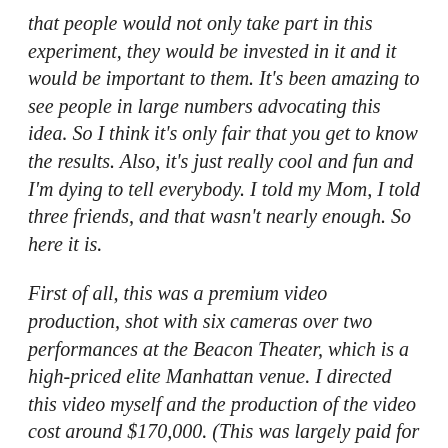that people would not only take part in this experiment, they would be invested in it and it would be important to them. It's been amazing to see people in large numbers advocating this idea. So I think it's only fair that you get to know the results. Also, it's just really cool and fun and I'm dying to tell everybody. I told my Mom, I told three friends, and that wasn't nearly enough. So here it is.
First of all, this was a premium video production, shot with six cameras over two performances at the Beacon Theater, which is a high-priced elite Manhattan venue. I directed this video myself and the production of the video cost around $170,000. (This was largely paid for by the tickets bought by the audiences at both shows). The